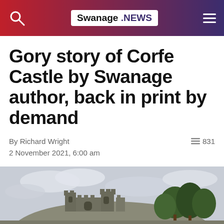Swanage .NEWS
Gory story of Corfe Castle by Swanage author, back in print by demand
By Richard Wright
831
2 November 2021, 6:00 am
[Figure (photo): Ruins of Corfe Castle on a hilltop against a cloudy sky, with trees visible to the right.]